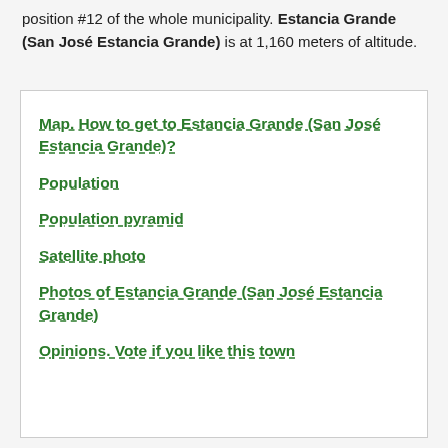position #12 of the whole municipality. Estancia Grande (San José Estancia Grande) is at 1,160 meters of altitude.
Map. How to get to Estancia Grande (San José Estancia Grande)?
Population
Population pyramid
Satellite photo
Photos of Estancia Grande (San José Estancia Grande)
Opinions. Vote if you like this town